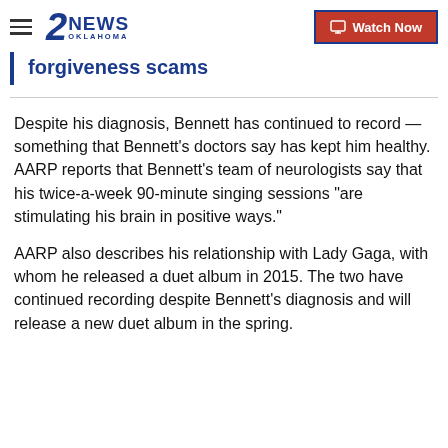2NEWS OKLAHOMA | Watch Now
forgiveness scams
Despite his diagnosis, Bennett has continued to record — something that Bennett's doctors say has kept him healthy. AARP reports that Bennett's team of neurologists say that his twice-a-week 90-minute singing sessions "are stimulating his brain in positive ways."
AARP also describes his relationship with Lady Gaga, with whom he released a duet album in 2015. The two have continued recording despite Bennett's diagnosis and will release a new duet album in the spring.